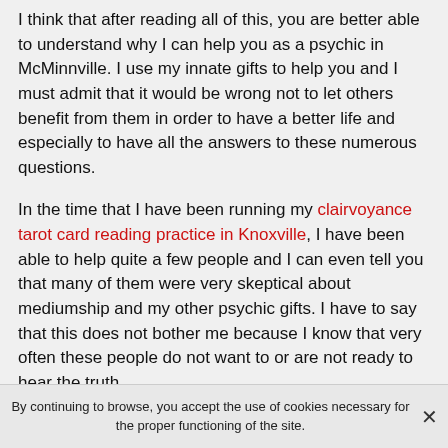I think that after reading all of this, you are better able to understand why I can help you as a psychic in McMinnville. I use my innate gifts to help you and I must admit that it would be wrong not to let others benefit from them in order to have a better life and especially to have all the answers to these numerous questions.
In the time that I have been running my clairvoyance tarot card reading practice in Knoxville, I have been able to help quite a few people and I can even tell you that many of them were very skeptical about mediumship and my other psychic gifts. I have to say that this does not bother me because I know that very often these people do not want to or are not ready to hear the truth.
It is actually very easy for me to show a person what he or she should do to have a better life, but if they don't believe
By continuing to browse, you accept the use of cookies necessary for the proper functioning of the site.